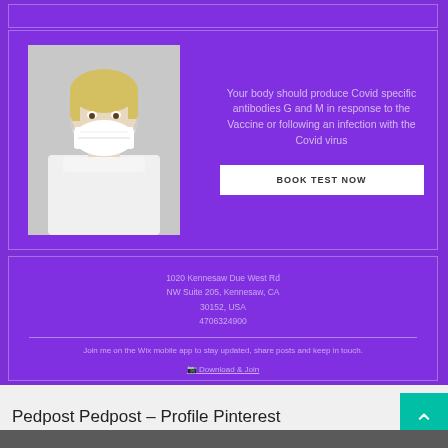[Figure (photo): Person with short blonde hair wearing a white face mask/respirator, photographed against a light background]
Your body should produce Covid specific antibodies G and M in response to the Vaccine or following an infection with the Covid virus
BOOK TEST NOW
1020 Kennesaw Due West Rd
NW Suite 205, Kennesaw, CA
30152, USA
4706324900
Join me on the Wix mobile app to stay updated, share posts and keep in touch.
Download & Join
Pedpost Pedpost – Profile Pinterest